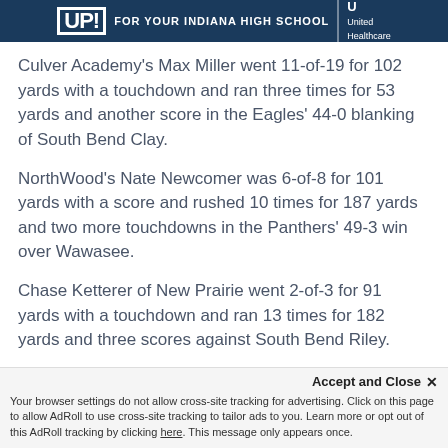[Figure (other): Blue banner advertisement: 'UP! FOR YOUR INDIANA HIGH SCHOOL' with UnitedHealthcare logo]
Culver Academy's Max Miller went 11-of-19 for 102 yards with a touchdown and ran three times for 53 yards and another score in the Eagles' 44-0 blanking of South Bend Clay.
NorthWood's Nate Newcomer was 6-of-8 for 101 yards with a score and rushed 10 times for 187 yards and two more touchdowns in the Panthers' 49-3 win over Wawasee.
Chase Ketterer of New Prairie went 2-of-3 for 91 yards with a touchdown and ran 13 times for 182 yards and three scores against South Bend Riley.
Toby Brogan of Greensburg completed 8-of-11 for 87
Accept and Close ✕
Your browser settings do not allow cross-site tracking for advertising. Click on this page to allow AdRoll to use cross-site tracking to tailor ads to you. Learn more or opt out of this AdRoll tracking by clicking here. This message only appears once.